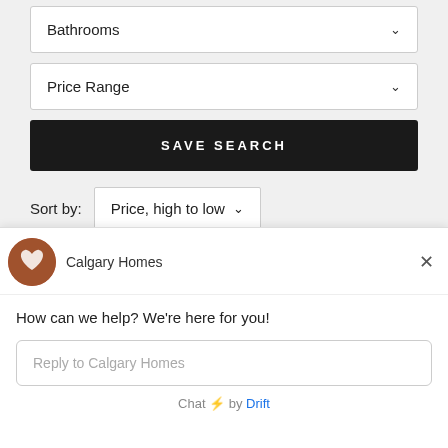Bathrooms
Price Range
SAVE SEARCH
Sort by: Price, high to low
listings page for short criteria your search
Calgary Homes
How can we help? We're here for you!
Reply to Calgary Homes
Chat ⚡ by Drift